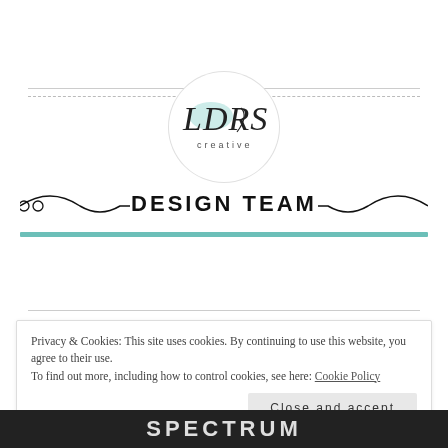[Figure (logo): LDRS Creative logo in a white circle with teal script letters and 'creative' in small caps below]
DESIGN TEAM
Privacy & Cookies: This site uses cookies. By continuing to use this website, you agree to their use.
To find out more, including how to control cookies, see here: Cookie Policy
Close and accept
[Figure (photo): Black and white photo strip at bottom showing partial text 'SPECTRUM' or similar]